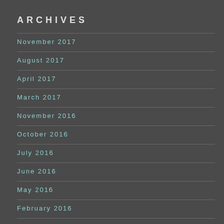ARCHIVES
November 2017
August 2017
April 2017
March 2017
November 2016
October 2016
July 2016
June 2016
May 2016
February 2016